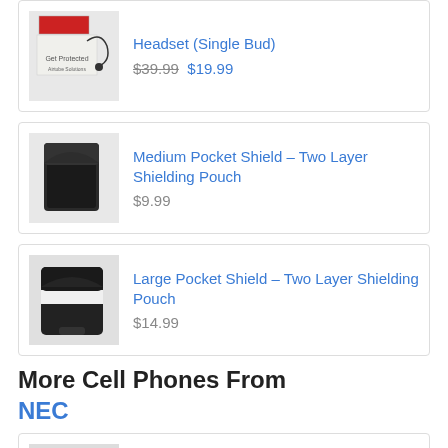[Figure (photo): Partial product card at top - headset single bud product with original price $39.99 and sale price $19.99]
[Figure (photo): Medium Pocket Shield – Two Layer Shielding Pouch product image - black pouch]
Medium Pocket Shield – Two Layer Shielding Pouch
$9.99
[Figure (photo): Large Pocket Shield – Two Layer Shielding Pouch product image - black leather pouch with white stripe]
Large Pocket Shield – Two Layer Shielding Pouch
$14.99
More Cell Phones From
NEC
[Figure (photo): NEC N908 cell phone product image]
NEC N908
View SAR rating →
NEC 804N